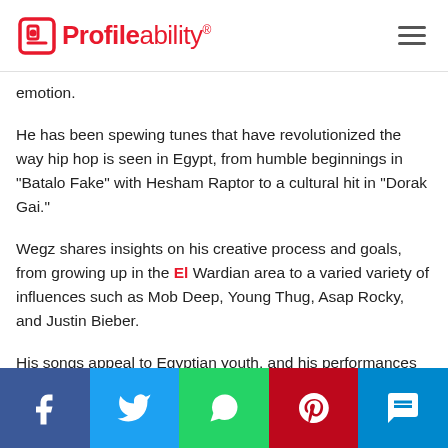Profileability
emotion.
He has been spewing tunes that have revolutionized the way hip hop is seen in Egypt, from humble beginnings in "Batalo Fake" with Hesham Raptor to a cultural hit in "Dorak Gai."
Wegz shares insights on his creative process and goals, from growing up in the El Wardian area to a varied variety of influences such as Mob Deep, Young Thug, Asap Rocky, and Justin Bieber.
His songs appeal to Egyptian youth, and his performances symbolize a courageous youthful culture anxious to be at
Facebook | Twitter | WhatsApp | Pinterest | SMS